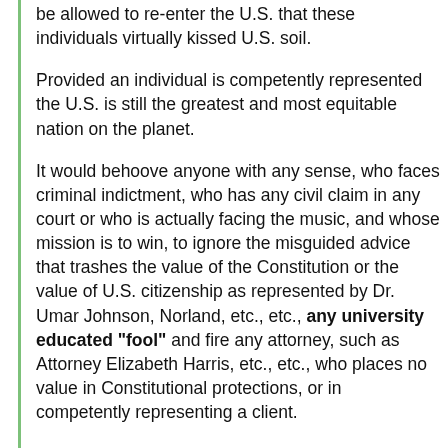be allowed to re-enter the U.S. that these individuals virtually kissed U.S. soil.
Provided an individual is competently represented the U.S. is still the greatest and most equitable nation on the planet.
It would behoove anyone with any sense, who faces criminal indictment, who has any civil claim in any court or who is actually facing the music, and whose mission is to win, to ignore the misguided advice that trashes the value of the Constitution or the value of U.S. citizenship as represented by Dr. Umar Johnson, Norland, etc., etc., any university educated "fool" and fire any attorney, such as Attorney Elizabeth Harris, etc., etc., who places no value in Constitutional protections, or in competently representing a client.